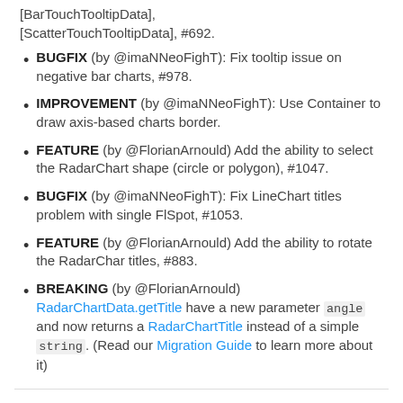[BarTouchTooltipData], [ScatterTouchTooltipData], #692.
BUGFIX (by @imaNNeoFighT): Fix tooltip issue on negative bar charts, #978.
IMPROVEMENT (by @imaNNeoFighT): Use Container to draw axis-based charts border.
FEATURE (by @FlorianArnould) Add the ability to select the RadarChart shape (circle or polygon), #1047.
BUGFIX (by @imaNNeoFighT): Fix LineChart titles problem with single FlSpot, #1053.
FEATURE (by @FlorianArnould) Add the ability to rotate the RadarChar titles, #883.
BREAKING (by @FlorianArnould) RadarChartData.getTitle have a new parameter angle and now returns a RadarChartTitle instead of a simple string. (Read our Migration Guide to learn more about it)